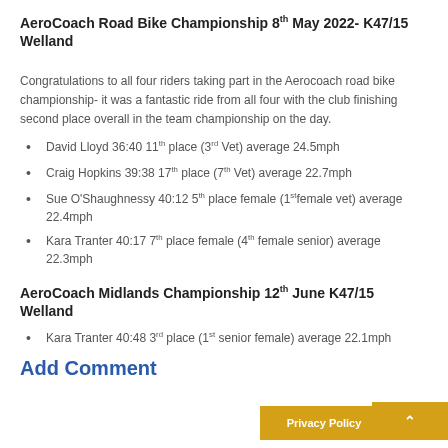AeroCoach Road Bike Championship 8th May 2022- K47/15 Welland
Congratulations to all four riders taking part in the Aerocoach road bike championship- it was a fantastic ride from all four with the club finishing second place overall in the team championship on the day.
David Lloyd 36:40 11th place (3rd Vet) average 24.5mph
Craig Hopkins 39:38 17th place (7th Vet) average 22.7mph
Sue O'Shaughnessy 40:12 5th place female (1st female vet) average 22.4mph
Kara Tranter 40:17 7th place female (4th female senior) average 22.3mph
AeroCoach Midlands Championship 12th June K47/15 Welland
Kara Tranter 40:48 3rd place (1st senior female) average 22.1mph
Add Comment